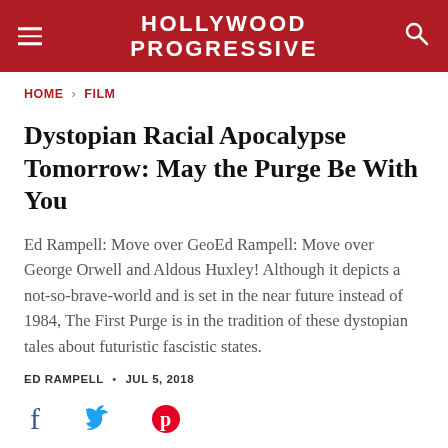HOLLYWOOD PROGRESSIVE
HOME > FILM
Dystopian Racial Apocalypse Tomorrow: May the Purge Be With You
Ed Rampell: Move over GeoEd Rampell: Move over George Orwell and Aldous Huxley! Although it depicts a not-so-brave-world and is set in the near future instead of 1984, The First Purge is in the tradition of these dystopian tales about futuristic fascistic states.
ED RAMPELL • JUL 5, 2018
[Figure (other): Social sharing icons: Facebook, Twitter, Pinterest]